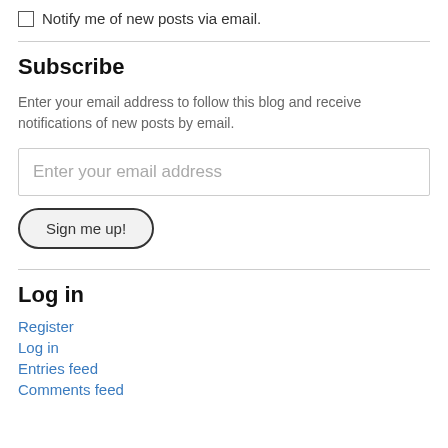Notify me of new posts via email.
Subscribe
Enter your email address to follow this blog and receive notifications of new posts by email.
Enter your email address
Sign me up!
Log in
Register
Log in
Entries feed
Comments feed